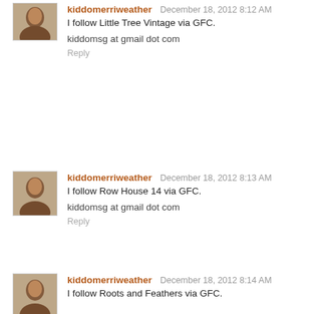[Figure (photo): Avatar thumbnail of kiddomerriweather (partial, top of page)]
I follow Little Tree Vintage via GFC.
kiddomsg at gmail dot com
Reply
[Figure (photo): Avatar thumbnail of kiddomerriweather]
kiddomerriweather December 18, 2012 8:13 AM
I follow Row House 14 via GFC.
kiddomsg at gmail dot com
Reply
[Figure (photo): Avatar thumbnail of kiddomerriweather]
kiddomerriweather December 18, 2012 8:14 AM
I follow Roots and Feathers via GFC.
kiddomsg at gmail dot com
Reply
[Figure (photo): Avatar thumbnail of kiddomerriweather]
kiddomerriweather December 18, 2012 8:15 AM
I follow Rebecca Murphy's blog via e-mail.